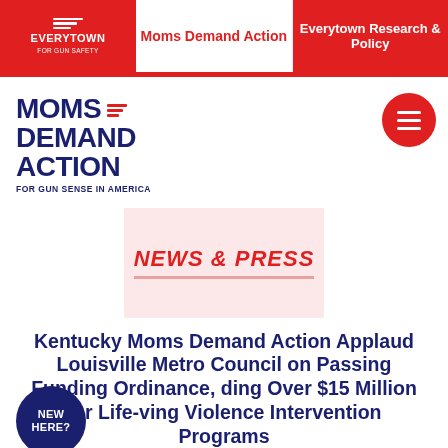Moms Demand Action | Everytown Research & Policy
[Figure (logo): Moms Demand Action for Gun Sense in America logo with red lines icon and dark blue bold text]
[Figure (illustration): News & Press stamp graphic on pink/light red background]
Kentucky Moms Demand Action Applaud Louisville Metro Council on Passing Funding Ordinance, Directing Over $15 Million for Life-Saving Violence Intervention Programs